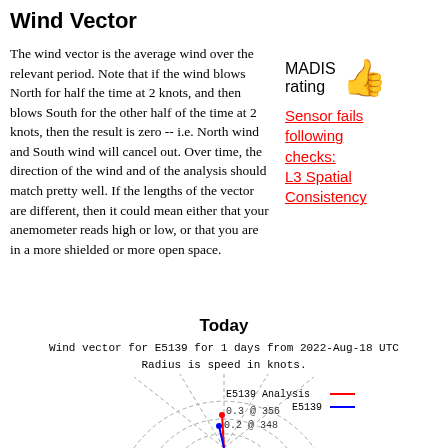Wind Vector
The wind vector is the average wind over the relevant period. Note that if the wind blows North for half the time at 2 knots, and then blows South for the other half of the time at 2 knots, then the result is zero -- i.e. North wind and South wind will cancel out. Over time, the direction of the wind and of the analysis should match pretty well. If the lengths of the vector are different, then it could mean either that your anemometer reads high or low, or that you are in a more shielded or more open space.
[Figure (infographic): MADIS rating with green thumbs up icon]
Sensor fails following checks: L3 Spatial Consistency
Today
Wind vector for E5139 for 1 days from 2022-Aug-18 UTC
Radius is speed in knots.
[Figure (radar-chart): Partial radar/polar chart showing wind vector for E5139. Red line labeled 'E5139 Analysis' at 0.3 @ 356 degrees, blue line labeled 'E5139' at 0.2 @ 348 degrees. Radius is speed in knots.]